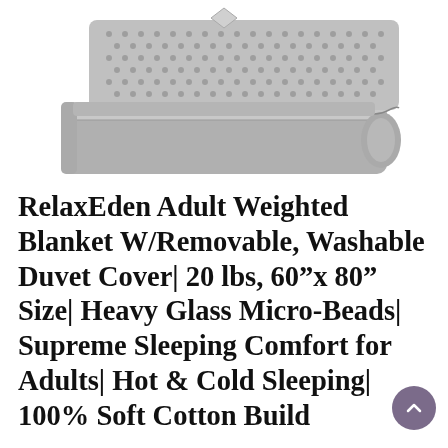[Figure (photo): A folded grey weighted blanket with a textured mesh/waffle weave cover on top and a smooth grey duvet beneath, stacked neatly, photographed on a white background.]
RelaxEden Adult Weighted Blanket W/Removable, Washable Duvet Cover| 20 lbs, 60”x 80” Size| Heavy Glass Micro-Beads| Supreme Sleeping Comfort for Adults| Hot & Cold Sleeping| 100% Soft Cotton Build